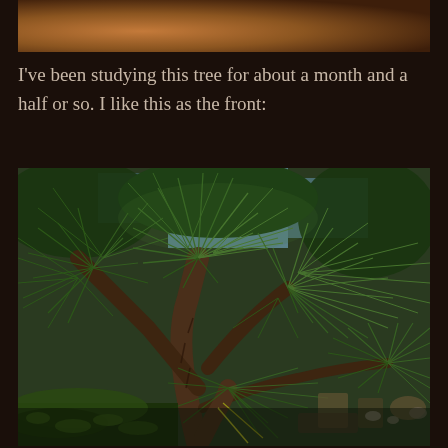[Figure (photo): Top portion of a terracotta/clay pot visible at the top of the page, cropped close-up showing a brown ceramic pot.]
I've been studying this tree for about a month and a half or so. I like this as the front:
[Figure (photo): Close-up photograph of a pine bonsai tree showing the trunk structure and long green needles spreading outward. The tree has multiple branching trunks with rough bark texture. Background shows other plants and outdoor garden setting.]